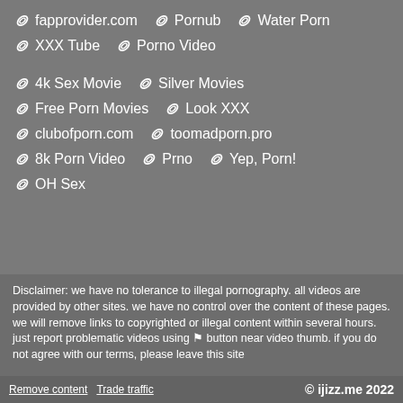fapprovider.com
Pornub
Water Porn
XXX Tube
Porno Video
4k Sex Movie
Silver Movies
Free Porn Movies
Look XXX
clubofporn.com
toomadporn.pro
8k Porn Video
Prno
Yep, Porn!
OH Sex
Disclaimer: we have no tolerance to illegal pornography. all videos are provided by other sites. we have no control over the content of these pages. we will remove links to copyrighted or illegal content within several hours. just report problematic videos using ⚑ button near video thumb. if you do not agree with our terms, please leave this site
Remove content   Trade traffic   © ijizz.me 2022